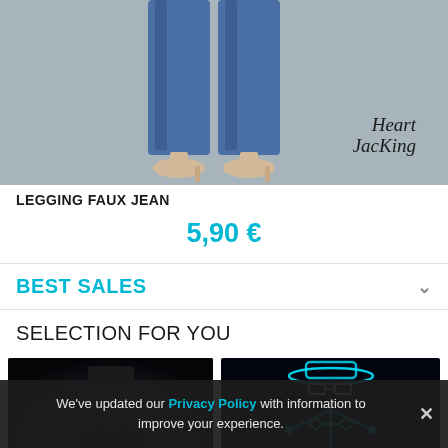[Figure (photo): Partial view of lower body wearing denim leggings/jeans with beige heels on grey background, with Heart Jacking brand logo text]
LEGGING FAUX JEAN
5,90 €
BEST SALES
SELECTION FOR YOU
[Figure (photo): Man with beard wearing black cap and sunglasses, dark background]
[Figure (photo): Glowing neon light figure of a person with hat and bowtie on dark background]
We've updated our Privacy Policy with information to improve your experience.